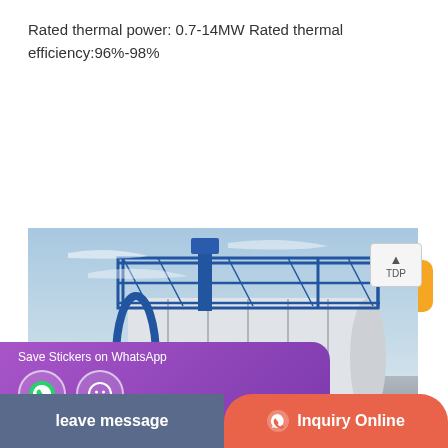Rated thermal power: 0.7-14MW Rated thermal efficiency:96%-98%
[Figure (other): Two call-to-action buttons: 'Learn More' (blue) and 'Get a quote' (orange)]
[Figure (photo): Industrial cylindrical tank/boiler unit with blue steel frame and walkway platform, photographed outdoors against a sky background]
[Figure (other): WhatsApp sticker save overlay bar with purple gradient background, showing WhatsApp phone icon and smiley face icon]
leave message
Inquiry Online